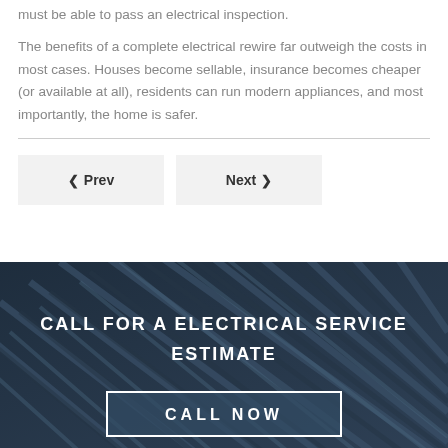must be able to pass an electrical inspection.
The benefits of a complete electrical rewire far outweigh the costs in most cases. Houses become sellable, insurance becomes cheaper (or available at all), residents can run modern appliances, and most importantly, the home is safer.
Prev
Next
[Figure (photo): Dark background with diagonal cables/wires in blue-grey tones with overlay text 'CALL FOR A ELECTRICAL SERVICE ESTIMATE' and a 'CALL NOW' button]
CALL FOR A ELECTRICAL SERVICE ESTIMATE
CALL NOW